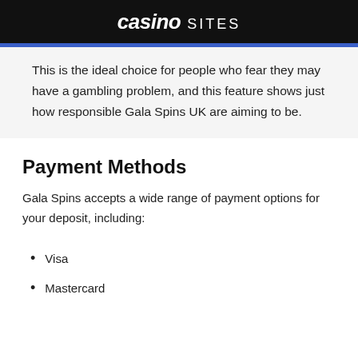casino SITES
This is the ideal choice for people who fear they may have a gambling problem, and this feature shows just how responsible Gala Spins UK are aiming to be.
Payment Methods
Gala Spins accepts a wide range of payment options for your deposit, including:
Visa
Mastercard